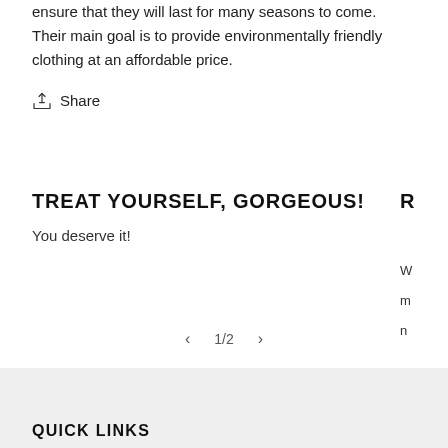ensure that they will last for many seasons to come. Their main goal is to provide environmentally friendly clothing at an affordable price.
Share
TREAT YOURSELF, GORGEOUS!
You deserve it!
QUICK LINKS